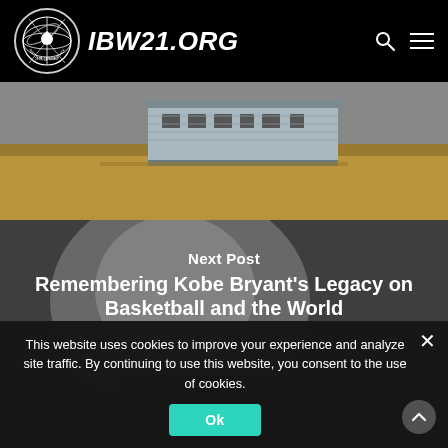IBW21.ORG
[Figure (photo): A small white/blue wooden building or shed in an open field with dry golden grass and a grey sky background.]
[Figure (photo): Close-up portrait of a Black man looking up, greyscale/grey toned photo, used as background for the next post navigation section.]
Next Post
Remembering Kobe Bryant's Legacy on Basketball and the World
This website uses cookies to improve your experience and analyze site traffic. By continuing to use this website, you consent to the use of cookies.